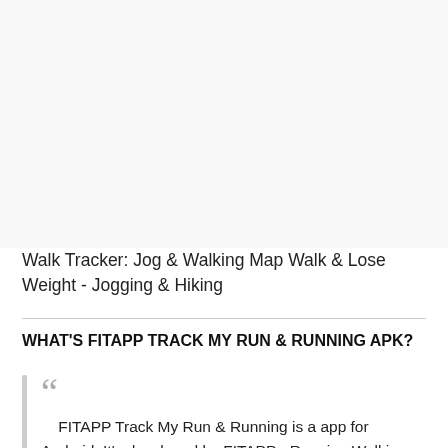[Figure (other): Large blank/white image area at top of page]
Walk Tracker: Jog & Walking Map Walk & Lose Weight - Jogging & Hiking
WHAT'S FITAPP TRACK MY RUN & RUNNING APK?
FITAPP Track My Run & Running is a app for Android, It's developed by FITAPP - Running Walking Fitness App Company author.
First released on google play in 7 years ago and latest